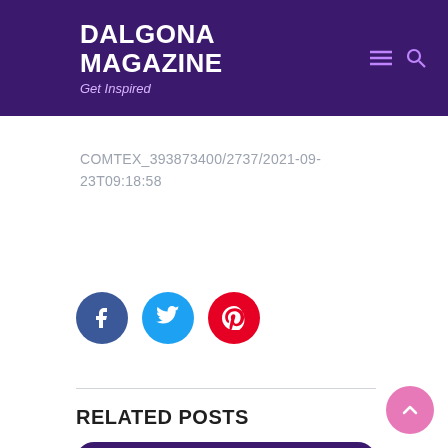DALGONA MAGAZINE
Get Inspired
COMTEX_393873400/2737/2021-09-23T09:18:58
[Figure (infographic): Social media share buttons: Facebook (dark blue circle with f icon), Twitter (light blue circle with bird icon), Pinterest (red circle with p icon)]
RELATED POSTS
[Figure (illustration): Dark purple rounded rectangle card at the bottom of the page]